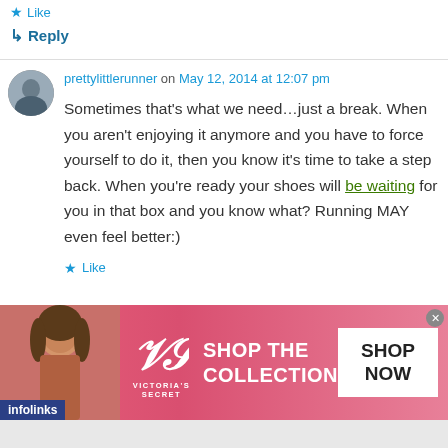★ Like
↳ Reply
prettylittlerunner on May 12, 2014 at 12:07 pm
Sometimes that's what we need…just a break. When you aren't enjoying it anymore and you have to force yourself to do it, then you know it's time to take a step back. When you're ready your shoes will be waiting for you in that box and you know what? Running MAY even feel better:)
★ Like
[Figure (screenshot): Victoria's Secret advertisement banner with model, VS logo, 'SHOP THE COLLECTION' text, and 'SHOP NOW' button. Infolinks badge in bottom-left corner.]